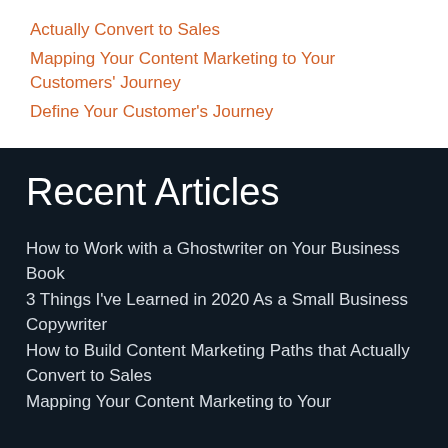Actually Convert to Sales
Mapping Your Content Marketing to Your Customers' Journey
Define Your Customer's Journey
Recent Articles
How to Work with a Ghostwriter on Your Business Book
3 Things I've Learned in 2020 As a Small Business Copywriter
How to Build Content Marketing Paths that Actually Convert to Sales
Mapping Your Content Marketing to Your